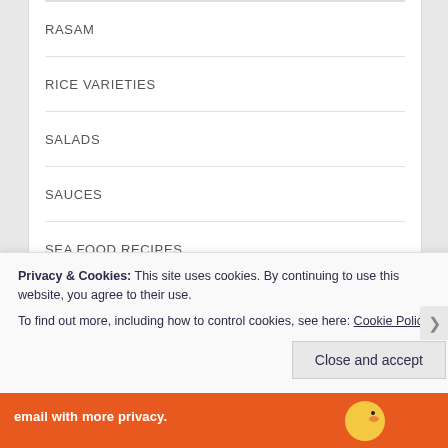RASAM
RICE VARIETIES
SALADS
SAUCES
SEA FOOD RECIPES
SEAFOOD
SIDE DISHES
Privacy & Cookies: This site uses cookies. By continuing to use this website, you agree to their use.
To find out more, including how to control cookies, see here: Cookie Policy
Close and accept
email with more privacy.